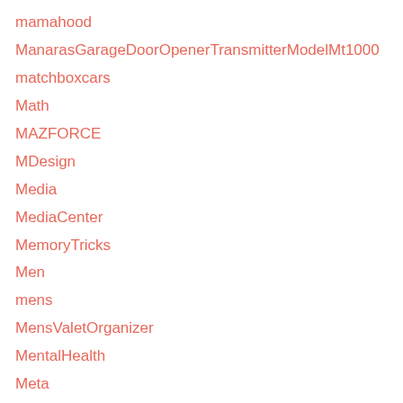mamahood
ManarasGarageDoorOpenerTransmitterModelMt1000
matchboxcars
Math
MAZFORCE
MDesign
Media
MediaCenter
MemoryTricks
Men
mens
MensValetOrganizer
MentalHealth
Meta
MetalEarringTreeHolder